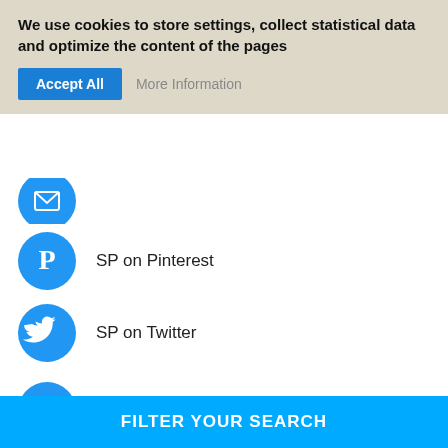We use cookies to store settings, collect statistical data and optimize the content of the pages
SP on Pinterest
SP on Twitter
info@secretplaces.com
+351214647430
Gift Vouchers
Blog
FILTER YOUR SEARCH